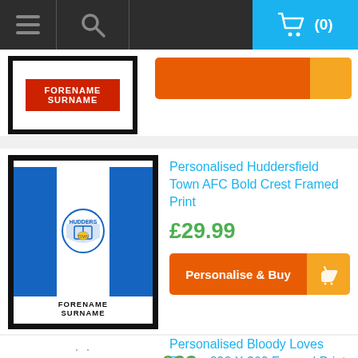Navigation bar with hamburger menu, search, and shopping cart (0)
[Figure (screenshot): Partially visible framed print product image at top, showing a red background with FORENAME SURNAME text]
[Figure (illustration): Personalised Huddersfield Town AFC Bold Crest Framed Print - blue and white striped design with crest and FORENAME SURNAME text]
Personalised Huddersfield Town AFC Bold Crest Framed Print
£29.99
Personalise & Buy
Personalised Bloody Loves Rugby 290 X 360 Framed Print
£29.99